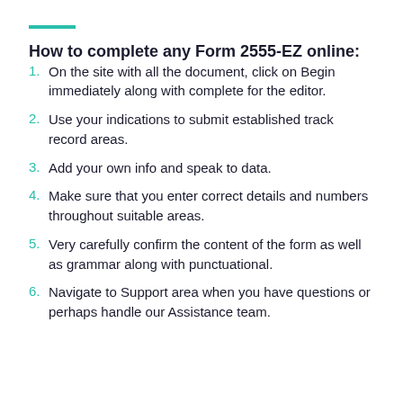How to complete any Form 2555-EZ online:
On the site with all the document, click on Begin immediately along with complete for the editor.
Use your indications to submit established track record areas.
Add your own info and speak to data.
Make sure that you enter correct details and numbers throughout suitable areas.
Very carefully confirm the content of the form as well as grammar along with punctuational.
Navigate to Support area when you have questions or perhaps handle our Assistance team.